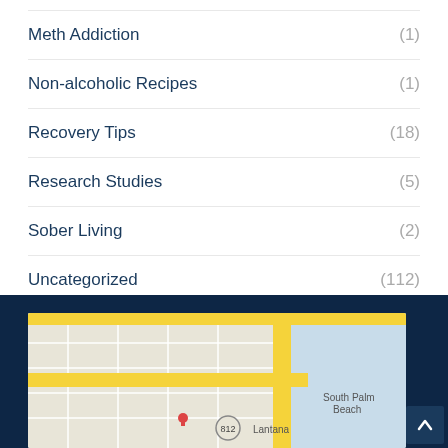Meth Addiction (1)
Non-alcoholic Recipes (1)
Recovery Tips (18)
Research Studies (5)
Sober Living (2)
Uncategorized (112)
[Figure (map): Google Maps embed showing Archstone Behavioral Health location near Lantana and South Palm Beach, with popup reading 'Archstone Behavio...' and 'View larger map' link]